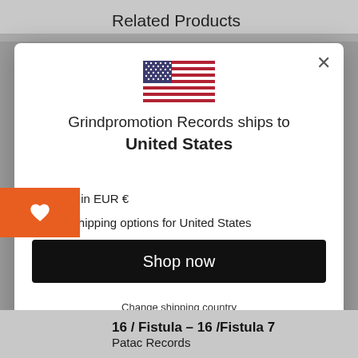Related Products
[Figure (illustration): US flag SVG illustration inside modal popup]
Grindpromotion Records ships to United States
Shop in EUR €
Get shipping options for United States
Shop now
Change shipping country
16 / Fistula – 16 /Fistula 7
Patac Records